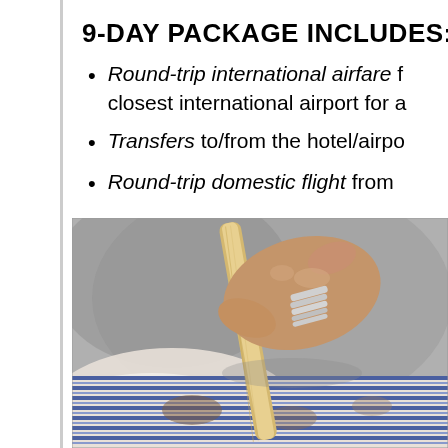9-DAY PACKAGE INCLUDES:
Round-trip international airfare from your closest international airport for a...
Transfers to/from the hotel/airpo...
Round-trip domestic flight from ...
[Figure (photo): Close-up of hands holding a wooden weaving tool over a striped blue and white textile fabric]